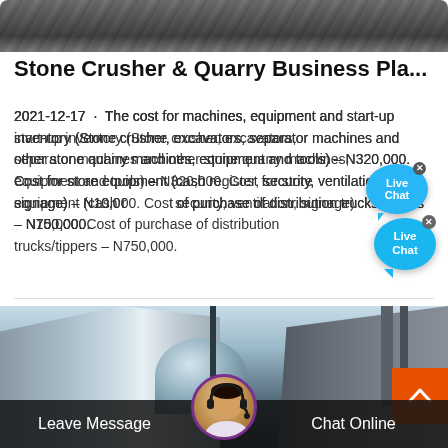[Figure (photo): Top photo of crushed stones/rocks, dark gray rocky material]
Stone Crusher & Quarry Business Pla...
2021-12-17 · The cost for machines, equipment and start-up inventory (Stone crusher, excavators, separator machines and other stone quarry machines, equipment and tools) – N320,000. Cost for store equipment (cash register, security, ventilation, signage) – N10,000. Cost of purchase of distribution trucks/tippers – N750,000.
[Figure (photo): Photo of industrial quarry/crushing plant facilities with buildings, dome structure, and pipes]
Leave Message   Chat Online